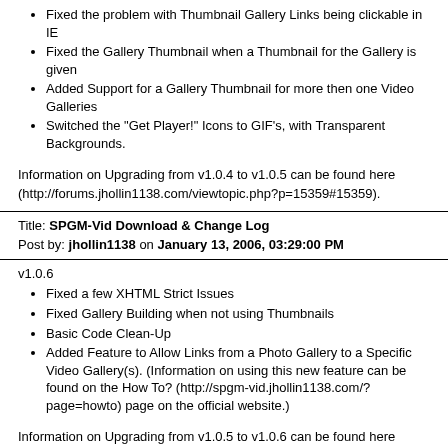Fixed the problem with Thumbnail Gallery Links being clickable in IE
Fixed the Gallery Thumbnail when a Thumbnail for the Gallery is given
Added Support for a Gallery Thumbnail for more then one Video Galleries
Switched the "Get Player!" Icons to GIF's, with Transparent Backgrounds.
Information on Upgrading from v1.0.4 to v1.0.5 can be found here (http://forums.jhollin1138.com/viewtopic.php?p=15359#15359).
Title: SPGM-Vid Download & Change Log
Post by: jhollin1138 on January 13, 2006, 03:29:00 PM
v1.0.6
Fixed a few XHTML Strict Issues
Fixed Gallery Building when not using Thumbnails
Basic Code Clean-Up
Added Feature to Allow Links from a Photo Gallery to a Specific Video Gallery(s). (Information on using this new feature can be found on the How To? (http://spgm-vid.jhollin1138.com/?page=howto) page on the official website.)
Information on Upgrading from v1.0.5 to v1.0.6 can be found here (http://forums.jhollin1138.com/viewtopic.php?p=15395#15395).